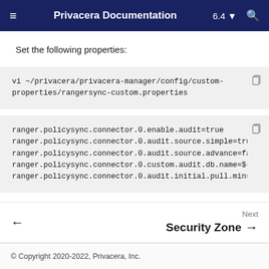Privacera Documentation 6.4
Set the following properties:
vi ~/privacera/privacera-manager/config/custom-properties/rangersync-custom.properties
ranger.policysync.connector.0.enable.audit=true
ranger.policysync.connector.0.audit.source.simple=true
ranger.policysync.connector.0.audit.source.advance=fal
ranger.policysync.connector.0.custom.audit.db.name=${D
ranger.policysync.connector.0.audit.initial.pull.min=3
Next Security Zone
© Copyright 2020-2022, Privacera, Inc.